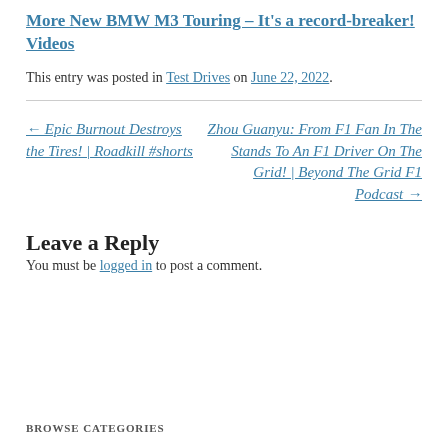More New BMW M3 Touring – It's a record-breaker! Videos
This entry was posted in Test Drives on June 22, 2022.
← Epic Burnout Destroys the Tires! | Roadkill #shorts
Zhou Guanyu: From F1 Fan In The Stands To An F1 Driver On The Grid! | Beyond The Grid F1 Podcast →
Leave a Reply
You must be logged in to post a comment.
BROWSE CATEGORIES